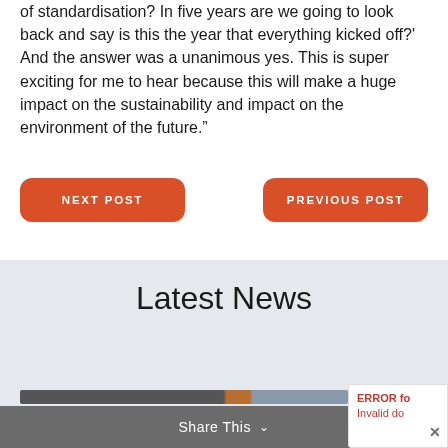of standardisation? In five years are we going to look back and say is this the year that everything kicked off?' And the answer was a unanimous yes. This is super exciting for me to hear because this will make a huge impact on the sustainability and impact on the environment of the future."
NEXT POST
PREVIOUS POST
Latest News
[Figure (photo): Partial news article image strip at bottom of page]
Share This ∨